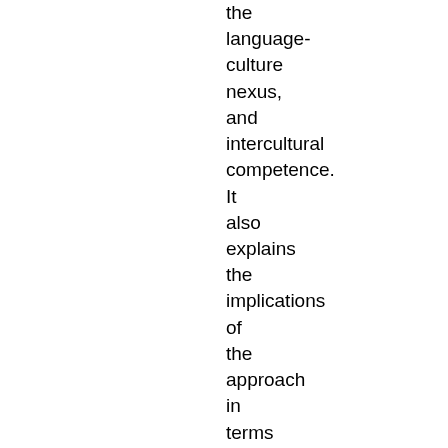the language-culture nexus, and intercultural competence. It also explains the implications of the approach in terms of the skills, attitudes, and